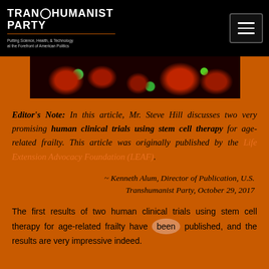TRANSHUMANIST PARTY — Putting Science, Health, & Technology at the Forefront of American Politics
[Figure (photo): Microscopy image showing fluorescent cells with green nuclei on dark red/black background]
Editor's Note: In this article, Mr. Steve Hill discusses two very promising human clinical trials using stem cell therapy for age-related frailty. This article was originally published by the Life Extension Advocacy Foundation (LEAF).
~ Kenneth Alum, Director of Publication, U.S. Transhumanist Party, October 29, 2017
The first results of two human clinical trials using stem cell therapy for age-related frailty have been published, and the results are very impressive indeed. The studies show that they may also be effective